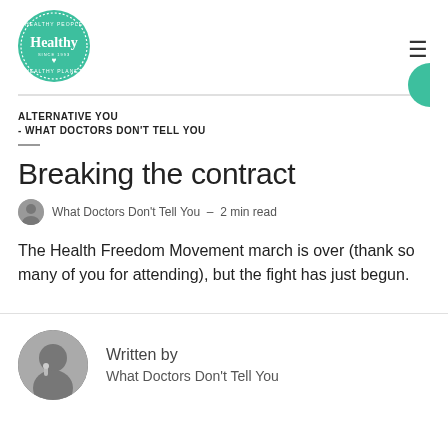[Figure (logo): Healthy People Healthy Planet circular teal logo with 'Healthy' text in white]
ALTERNATIVE YOU - WHAT DOCTORS DON'T TELL YOU
Breaking the contract
What Doctors Don't Tell You – 2 min read
The Health Freedom Movement march is over (thank so many of you for attending), but the fight has just begun.
Written by
What Doctors Don't Tell You